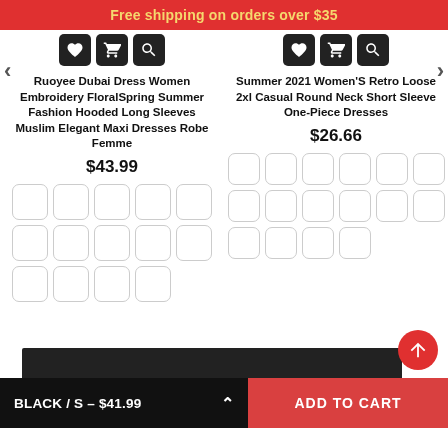Free shipping on orders over $35
Ruoyee Dubai Dress Women Embroidery FloralSpring Summer Fashion Hooded Long Sleeves Muslim Elegant Maxi Dresses Robe Femme
$43.99
Summer 2021 Women'S Retro Loose 2xl Casual Round Neck Short Sleeve One-Piece Dresses
$26.66
BLACK / S – $41.99
ADD TO CART